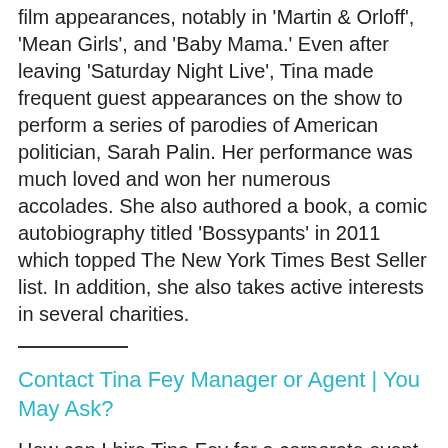film appearances, notably in 'Martin & Orloff', 'Mean Girls', and 'Baby Mama.' Even after leaving 'Saturday Night Live', Tina made frequent guest appearances on the show to perform a series of parodies of American politician, Sarah Palin. Her performance was much loved and won her numerous accolades. She also authored a book, a comic autobiography titled 'Bossypants' in 2011 which topped The New York Times Best Seller list. In addition, she also takes active interests in several charities.
Contact Tina Fey Manager or Agent | You May Ask?
How can I hire Tina Fey for a corporate event, non-profit or charity event or private performance? How much does Tina Fey cost for a performance, a song an appearance at an event, party or convention ending gala? What kind of budget would I need for a Tina Fey performance at our event?  How can I find out if Tina Fey is available for our event date? How